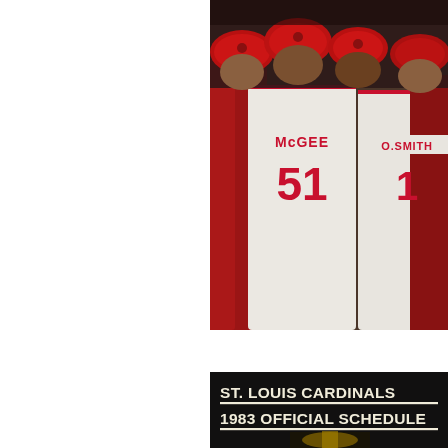[Figure (photo): St. Louis Cardinals baseball players in a celebratory huddle, showing jerseys with McGEE #51 and O.SMITH #1, players wearing red caps]
[Figure (photo): St. Louis Cardinals 1983 Official Schedule booklet cover featuring bold white text on black background and the Commissioner's Trophy (World Series trophy) in gold]